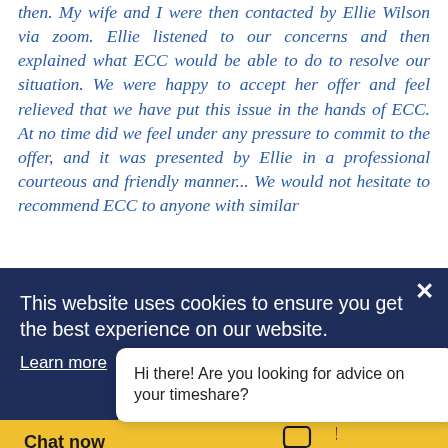then. My wife and I were then contacted by Ellie Wilson via zoom. Ellie listened to our concerns and then explained what ECC would be able to do to resolve our situation. We were happy to accept her offer and feel relieved that we have put this issue in the hands of ECC. At no time did we feel under any pressure to commit to the offer, and it was presented by Ellie in a professional courteous and friendly manner... We would not hesitate to recommend ECC to anyone with similar
This website uses cookies to ensure you get the best experience on our website.
Learn more
Hi there! Are you looking for advice on your timeshare?
Got it!
Chat now